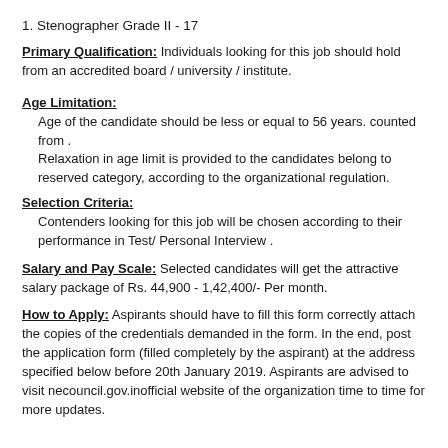1. Stenographer Grade II - 17
Primary Qualification: Individuals looking for this job should hold from an accredited board / university / institute.
Age Limitation:
Age of the candidate should be less or equal to 56 years. counted from .
Relaxation in age limit is provided to the candidates belong to reserved category, according to the organizational regulation.
Selection Criteria:
Contenders looking for this job will be chosen according to their performance in Test/ Personal Interview .
Salary and Pay Scale: Selected candidates will get the attractive salary package of Rs. 44,900 - 1,42,400/- Per month.
How to Apply: Aspirants should have to fill this form correctly attach the copies of the credentials demanded in the form. In the end, post the application form (filled completely by the aspirant) at the address specified below before 20th January 2019. Aspirants are advised to visit necouncil.gov.inofficial website of the organization time to time for more updates.